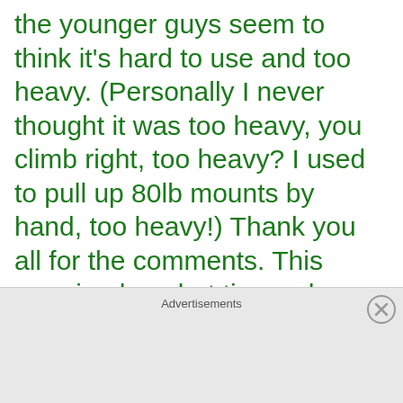the younger guys seem to think it's hard to use and too heavy. (Personally I never thought it was too heavy, you climb right, too heavy? I used to pull up 80lb mounts by hand, too heavy!) Thank you all for the comments. This surprised me but times change and I guess the Petzl ID is easier to use. So to be fair I
Advertisements